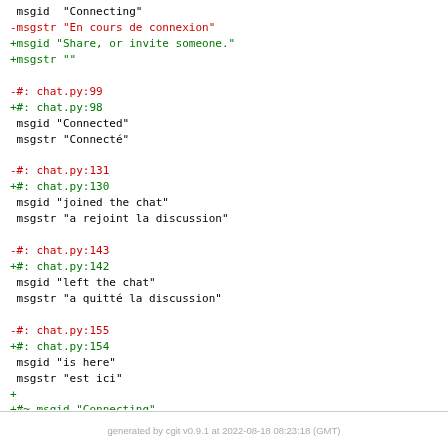msgid "Connecting"
-msgstr "En cours de connexion"
+msgid "Share, or invite someone."
+msgstr ""

-#: chat.py:99
+#: chat.py:98
 msgid "Connected"
 msgstr "Connecté"

-#: chat.py:131
+#: chat.py:130
 msgid "joined the chat"
 msgstr "a rejoint la discussion"

-#: chat.py:143
+#: chat.py:142
 msgid "left the chat"
 msgstr "a quitté la discussion"

-#: chat.py:155
+#: chat.py:154
 msgid "is here"
 msgstr "est ici"
+
+#~ msgid "Connecting"
+#~ msgstr "En cours de connexion"
generated by cgit v0.9.1 at 2022-08-18 08:23:18 (GMT)